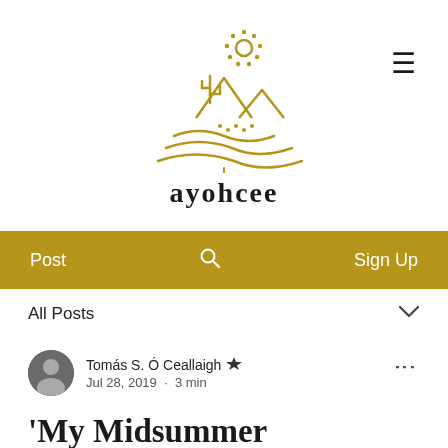[Figure (logo): Ayohcee website logo: golden/olive line-art desert scene with cactus, sun with dots, mountains and wavy lines. Below the illustration is the site name 'ayohcee' in bold serif font.]
ayohcee
Post   🔍   Sign Up
All Posts
Tomás S. Ó Ceallaigh  Admin
Jul 28, 2019  ·  3 min
'My Midsummer Morning' by Alastair Humphreys